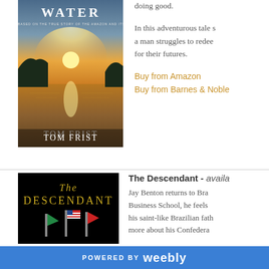[Figure (photo): Book cover for 'Water' by Tom Frist, showing a sunset over water with silhouetted landmasses]
doing good.
In this adventurous tale s... a man struggles to redee... for their futures.
Buy from Amazon
Buy from Barnes & Noble
[Figure (photo): Book cover for 'The Descendant' with yellow serif title text on black background with flags]
The Descendant - availa...
Jay Benton returns to Bra... Business School, he feels... his saint-like Brazilian fath... more about his Confedera...
POWERED BY weebly